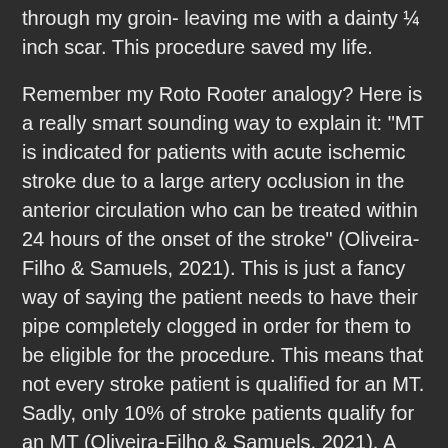through my groin- leaving me with a dainty ¼ inch scar. This procedure saved my life.
Remember my Roto Rooter analogy? Here is a really smart sounding way to explain it: "MT is indicated for patients with acute ischemic stroke due to a large artery occlusion in the anterior circulation who can be treated within 24 hours of the onset of the stroke" (Oliveira-Filho & Samuels, 2021). This is just a fancy way of saying the patient needs to have their pipe completely clogged in order for them to be eligible for the procedure. This means that not every stroke patient is qualified for an MT. Sadly, only 10% of stroke patients qualify for an MT (Oliveira-Filho & Samuels, 2021). A statistic that I hope will change in the near future.